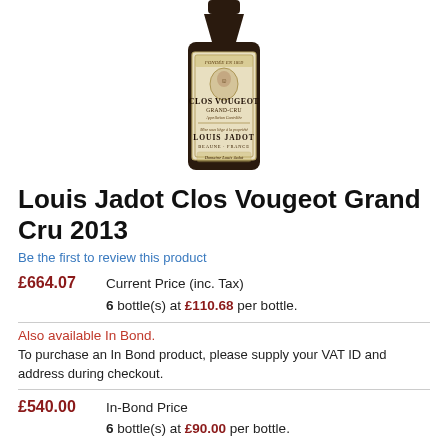[Figure (photo): Wine bottle label for Louis Jadot Clos Vougeot Grand Cru, showing a cream/beige label with decorative border, portrait illustration, and text reading CLOS VOUGEOT GRAND-CRU, LOUIS JADOT, BEAUNE - FRANCE, Domaine Louis Jadot]
Louis Jadot Clos Vougeot Grand Cru 2013
Be the first to review this product
£664.07  Current Price (inc. Tax)
6 bottle(s) at £110.68 per bottle.
Also available In Bond.
To purchase an In Bond product, please supply your VAT ID and address during checkout.
£540.00  In-Bond Price
6 bottle(s) at £90.00 per bottle.